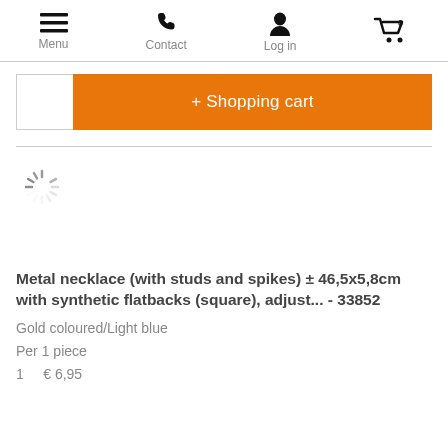Menu | Contact | Log in | Cart (0)
[Figure (screenshot): Shopping cart button with quantity box on the left and orange '+ Shopping cart' button on the right]
[Figure (other): Loading spinner icon (circular dashed spinner)]
Metal necklace (with studs and spikes) ± 46,5x5,8cm with synthetic flatbacks (square), adjust... - 33852
Gold coloured/Light blue
Per 1 piece
1    € 6,95